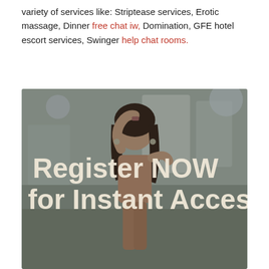variety of services like: Striptease services, Erotic massage, Dinner free chat iw, Domination, GFE hotel escort services, Swinger help chat rooms.
[Figure (photo): A young woman with dark hair posing outdoors near modern architecture. Overlaid text reads 'Register NOW for Instant Access' in large white/cream bold letters.]